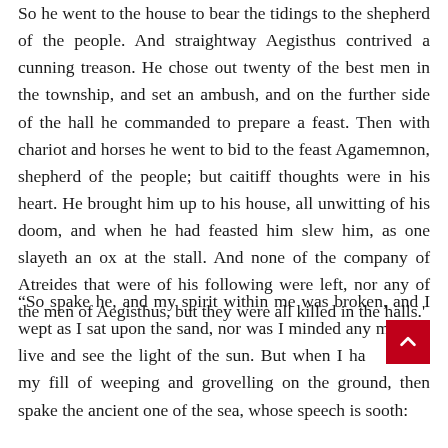So he went to the house to bear the tidings to the shepherd of the people. And straightway Aegisthus contrived a cunning treason. He chose out twenty of the best men in the township, and set an ambush, and on the further side of the hall he commanded to prepare a feast. Then with chariot and horses he went to bid to the feast Agamemnon, shepherd of the people; but caitiff thoughts were in his heart. He brought him up to his house, all unwitting of his doom, and when he had feasted him slew him, as one slayeth an ox at the stall. And none of the company of Atreides that were of his following were left, nor any of the men of Aegisthus, but they were all killed in the halls.'
“So spake he, and my spirit within me was broken, and I wept as I sat upon the sand, nor was I minded any more to live and see the light of the sun. But when I had taken my fill of weeping and grovelling on the ground, then spake the ancient one of the sea, whose speech is sooth: